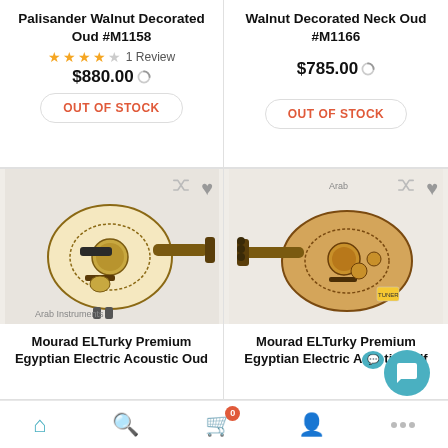Palisander Walnut Decorated Oud #M1158
★★★★☆ 1 Review
$880.00
OUT OF STOCK
Walnut Decorated Neck Oud #M1166
$785.00
OUT OF STOCK
[Figure (photo): Oud instrument product photo - Arab Instruments watermark, Mourad ELTurky Premium Egyptian Electric Acoustic Oud]
Mourad ELTurky Premium Egyptian Electric Acoustic Oud
[Figure (photo): Oud instrument product photo - Arab Instruments watermark, Mourad ELTurky Premium Egyptian Electric Acoustic Half]
Mourad ELTurky Premium Egyptian Electric Acoustic Half